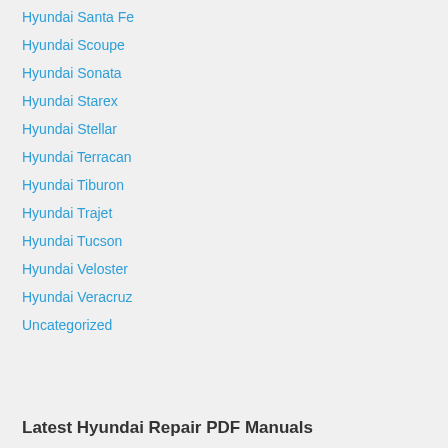Hyundai Santa Fe
Hyundai Scoupe
Hyundai Sonata
Hyundai Starex
Hyundai Stellar
Hyundai Terracan
Hyundai Tiburon
Hyundai Trajet
Hyundai Tucson
Hyundai Veloster
Hyundai Veracruz
Uncategorized
Latest Hyundai Repair PDF Manuals